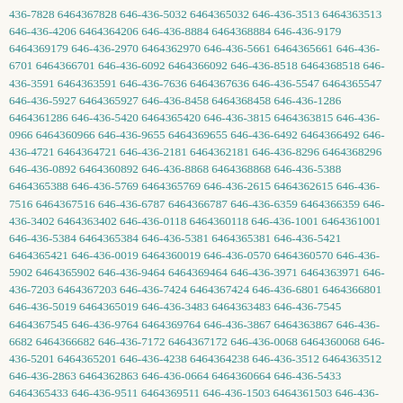436-7828 6464367828 646-436-5032 6464365032 646-436-3513 6464363513 646-436-4206 6464364206 646-436-8884 6464368884 646-436-9179 6464369179 646-436-2970 6464362970 646-436-5661 6464365661 646-436-6701 6464366701 646-436-6092 6464366092 646-436-8518 6464368518 646-436-3591 6464363591 646-436-7636 6464367636 646-436-5547 6464365547 646-436-5927 6464365927 646-436-8458 6464368458 646-436-1286 6464361286 646-436-5420 6464365420 646-436-3815 6464363815 646-436-0966 6464360966 646-436-9655 6464369655 646-436-6492 6464366492 646-436-4721 6464364721 646-436-2181 6464362181 646-436-8296 6464368296 646-436-0892 6464360892 646-436-8868 6464368868 646-436-5388 6464365388 646-436-5769 6464365769 646-436-2615 6464362615 646-436-7516 6464367516 646-436-6787 6464366787 646-436-6359 6464366359 646-436-3402 6464363402 646-436-0118 6464360118 646-436-1001 6464361001 646-436-5384 6464365384 646-436-5381 6464365381 646-436-5421 6464365421 646-436-0019 6464360019 646-436-0570 6464360570 646-436-5902 6464365902 646-436-9464 6464369464 646-436-3971 6464363971 646-436-7203 6464367203 646-436-7424 6464367424 646-436-6801 6464366801 646-436-5019 6464365019 646-436-3483 6464363483 646-436-7545 6464367545 646-436-9764 6464369764 646-436-3867 6464363867 646-436-6682 6464366682 646-436-7172 6464367172 646-436-0068 6464360068 646-436-5201 6464365201 646-436-4238 6464364238 646-436-3512 6464363512 646-436-2863 6464362863 646-436-0664 6464360664 646-436-5433 6464365433 646-436-9511 6464369511 646-436-1503 6464361503 646-436-8582 6464368582 646-436-5663 6464365663 646-436-7980 6464367980 646-436-7253 6464367253 646-436-5146